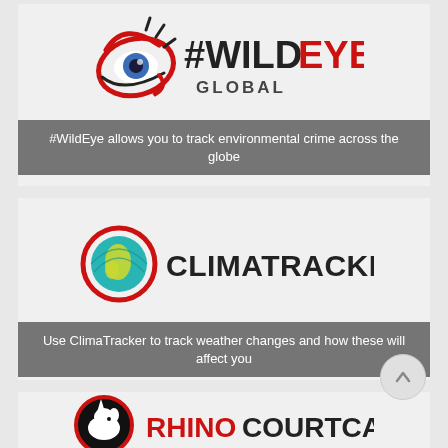[Figure (logo): #WildEye Global logo with eye graphic, hashtag WILD in black, EYE in red, GLOBAL below]
#WildEye allows you to track environmental crime across the globe
[Figure (logo): ClimaTracker logo with globe graphic and CLIMATRACKER text in bold black]
Use ClimaTracker to track weather changes and how these will affect you
[Figure (logo): RhinoCourtCases logo with rhino head in circle and RHINO in red COURTCASES in black]